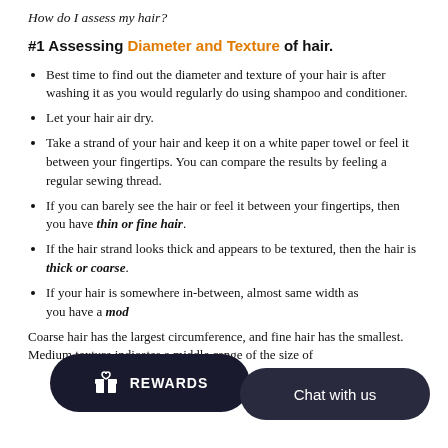How do I assess my hair?
#1 Assessing Diameter and Texture of hair.
Best time to find out the diameter and texture of your hair is after washing it as you would regularly do using shampoo and conditioner.
Let your hair air dry.
Take a strand of your hair and keep it on a white paper towel or feel it between your fingertips. You can compare the results by feeling a regular sewing thread.
If you can barely see the hair or feel it between your fingertips, then you have thin or fine hair.
If the hair strand looks thick and appears to be textured, then the hair is thick or coarse.
If your hair is somewhere in-between, almost same width as … you have a mod… …
Coarse hair has the largest circumference, and fine hair has the smallest. Medium texture indicates a middle-range of the size of